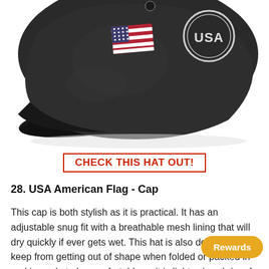[Figure (photo): A dark charcoal/black washed baseball cap with an American flag on the front panel and a circular 'USA' emblem embroidered on the side, photographed against a white background from a three-quarter side angle.]
CHECK THIS HAT OUT!
28. USA American Flag - Cap
This cap is both stylish as it is practical. It has an adjustable snug fit with a breathable mesh lining that will dry quickly if ever gets wet. This hat is also designed to keep from getting out of shape when folded or packed in and is made to be comfortable as it is lightweig… brim of the hat can be snapped to the top of the cap to